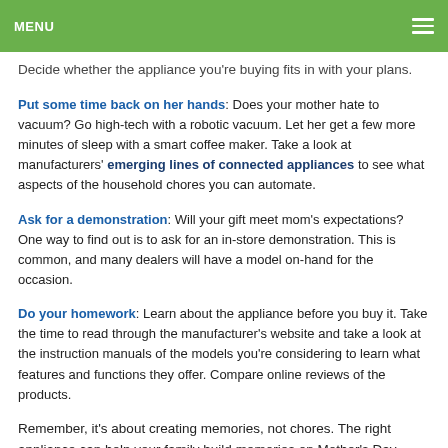MENU
Decide whether the appliance you're buying fits in with your plans.
Put some time back on her hands: Does your mother hate to vacuum? Go high-tech with a robotic vacuum. Let her get a few more minutes of sleep with a smart coffee maker. Take a look at manufacturers' emerging lines of connected appliances to see what aspects of the household chores you can automate.
Ask for a demonstration: Will your gift meet mom's expectations? One way to find out is to ask for an in-store demonstration. This is common, and many dealers will have a model on-hand for the occasion.
Do your homework: Learn about the appliance before you buy it. Take the time to read through the manufacturer's website and take a look at the instruction manuals of the models you're considering to learn what features and functions they offer. Compare online reviews of the products.
Remember, it's about creating memories, not chores. The right appliance can help your family build memories on Mother's Day